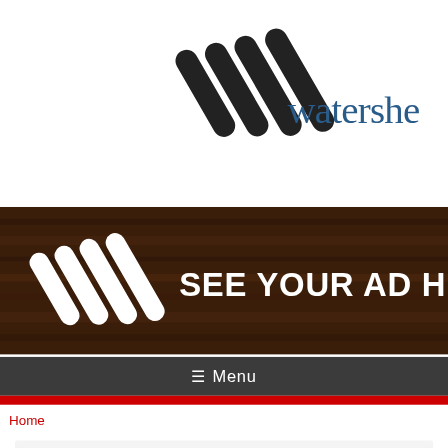[Figure (logo): Watershed logo: stylized diagonal stripes icon in dark/black with 'watershed' text in dark blue serif font, partially cropped on right]
[Figure (infographic): Advertisement banner with dark wood-grain background, watershed logo icon in white on left, bold white text 'SEE YOUR AD HERE.' on right]
≡ Menu
Home
D. Seiler
Dian Seiler
[Figure (photo): Outdoor photo showing a wooden sign with cursive text 'fairy' visible, surrounded by green foliage]